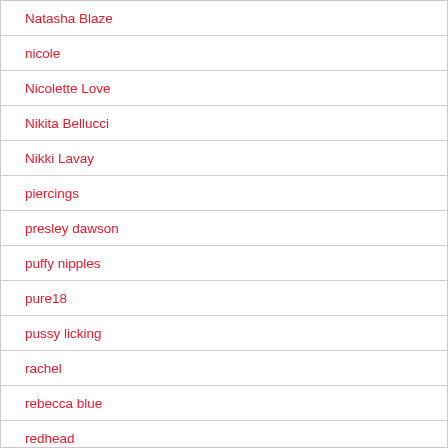Natasha Blaze
nicole
Nicolette Love
Nikita Bellucci
Nikki Lavay
piercings
presley dawson
puffy nipples
pure18
pussy licking
rachel
rebecca blue
redhead
rhianna
Rikki Six